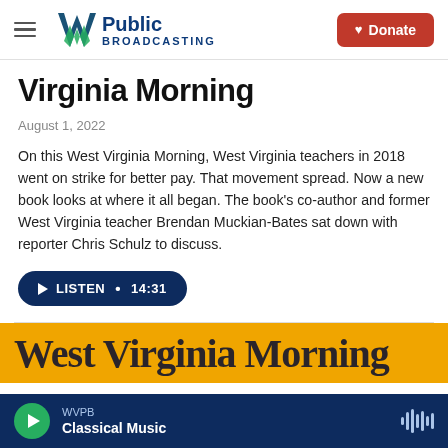W Public Broadcasting — Donate
Virginia Morning
August 1, 2022
On this West Virginia Morning, West Virginia teachers in 2018 went on strike for better pay. That movement spread. Now a new book looks at where it all began. The book's co-author and former West Virginia teacher Brendan Muckian-Bates sat down with reporter Chris Schulz to discuss.
LISTEN • 14:31
[Figure (screenshot): Partial view of a book cover with orange/yellow background showing large bold dark text starting with 'W...' (West Virginia Morning)]
WVPB Classical Music (audio player bar)